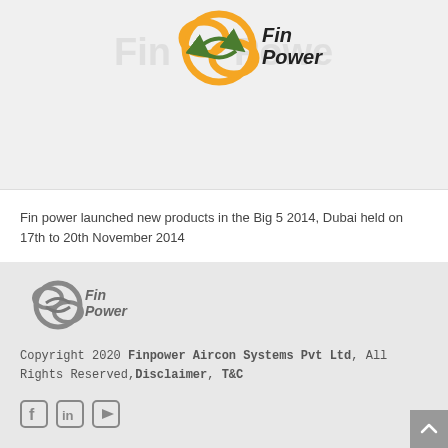[Figure (logo): Fin Power logo with orange circular emblem and green arrows, text 'Fin Power' in black, on light gray background]
Fin power launched new products in the Big 5 2014, Dubai held on 17th to 20th November 2014
[Figure (logo): Fin Power logo in gray tones - circular emblem with arrows and 'Fin Power' text]
Copyright 2020 Finpower Aircon Systems Pvt Ltd, All Rights Reserved,Disclaimer, T&C
[Figure (illustration): Social media icons: Facebook, LinkedIn, YouTube]